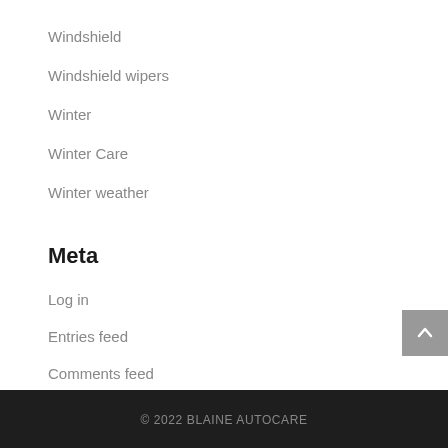Windshield
Windshield wipers
Winter
Winter Care
Winter weather
Meta
Log in
Entries feed
Comments feed
WordPress.org
© 2022 BLAINE AUTOCARE